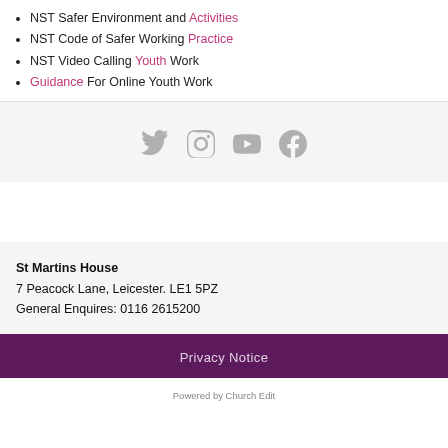NST Safer Environment and Activities
NST Code of Safer Working Practice
NST Video Calling Youth Work
Guidance For Online Youth Work
[Figure (infographic): Social media icons: Twitter, Instagram, YouTube, Facebook in grey]
St Martins House
7 Peacock Lane, Leicester. LE1 5PZ
General Enquires: 0116 2615200
Privacy Notice
Powered by Church Edit